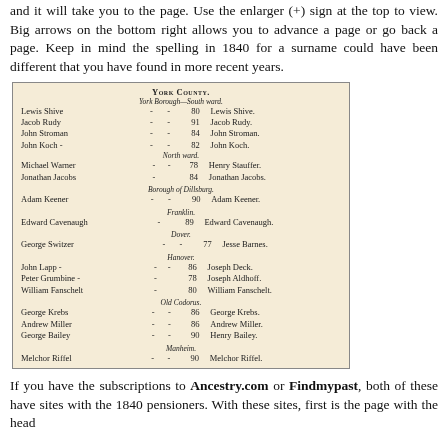and it will take you to the page. Use the enlarger (+) sign at the top to view. Big arrows on the bottom right allows you to advance a page or go back a page. Keep in mind the spelling in 1840 for a surname could have been different that you have found in more recent years.
[Figure (table-as-image): Scanned image of 1840 census pension list for York County Pennsylvania, showing names and ages of pensioners in various boroughs and townships including York Borough South Ward, North Ward, Borough of Dillsburg, Franklin, Dover, Hanover, Old Codorus, and Manheim.]
If you have the subscriptions to Ancestry.com or Findmypast, both of these have sites with the 1840 pensioners. With these sites, first is the page with the head